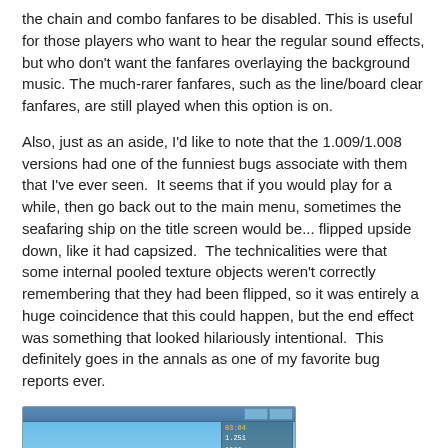the chain and combo fanfares to be disabled. This is useful for those players who want to hear the regular sound effects, but who don't want the fanfares overlaying the background music. The much-rarer fanfares, such as the line/board clear fanfares, are still played when this option is on.
Also, just as an aside, I'd like to note that the 1.009/1.008 versions had one of the funniest bugs associate with them that I've ever seen. It seems that if you would play for a while, then go back out to the main menu, sometimes the seafaring ship on the title screen would be... flipped upside down, like it had capsized. The technicalities were that some internal pooled texture objects weren't correctly remembering that they had been flipped, so it was entirely a huge coincidence that this could happen, but the end effect was something that looked hilariously intentional. This definitely goes in the annals as one of my favorite bug reports ever.
[Figure (screenshot): Screenshot of the Tidalis game title screen showing the game logo 'TIDALIS' in large blue letters on a sky-blue background, with a score panel on the right side showing 03:04, 1.251, and PAUSED, and a yellow menu button at the bottom left.]